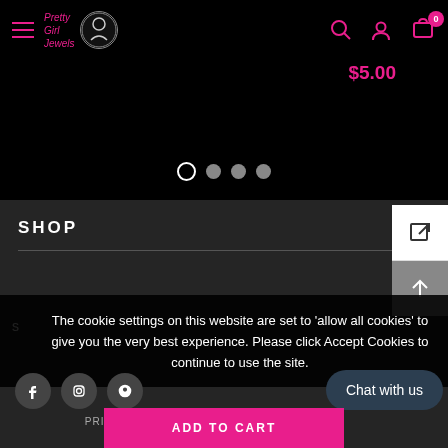[Figure (screenshot): Website header/navbar for Pretty Girl Jewels with hamburger menu, logo, search icon, user icon, and cart icon with badge showing 0]
$5.00
[Figure (other): Carousel navigation dots: one empty circle and three filled gray circles]
SHOP
[Figure (other): Navigation box with external link icon and up arrow icon]
The cookie settings on this website are set to 'allow all cookies' to give you the very best experience. Please click Accept Cookies to continue to use the site.
[Figure (other): Social media icons: Facebook, Instagram, Pinterest]
PRIVACY POLICY
ACCEPT
Chat with us
ADD TO CART